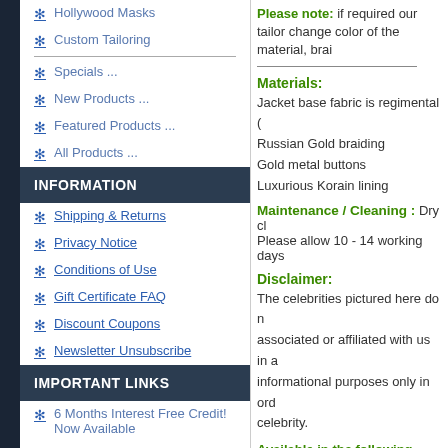Hollywood Masks
Custom Tailoring
Specials ...
New Products ...
Featured Products ...
All Products ...
INFORMATION
Shipping & Returns
Privacy Notice
Conditions of Use
Gift Certificate FAQ
Discount Coupons
Newsletter Unsubscribe
IMPORTANT LINKS
6 Months Interest Free Credit! Now Available
New Products
Please note: if required our tailor change color of the material, brai
Materials:
Jacket base fabric is regimental (
Russian Gold braiding
Gold metal buttons
Luxurious Korain lining
Maintenance / Cleaning :
Dry cl... Please allow 10 - 14 working days
Disclaimer:
The celebrities pictured here do not associated or affiliated with us in any way. informational purposes only in order to identify the celebrity.
Available in the following sizes
| Size: XXX Small | S... |
| --- | --- |
| Chest: 34 inches | C... |
| Shoulder to Shoulder: 15 inches | S... in... |
| Arm Length: 20 Inches | A... |
| Collar to waist: 23 Inches | C... |
| Size: Small | S... |
| Chest: 40 inches | C... |